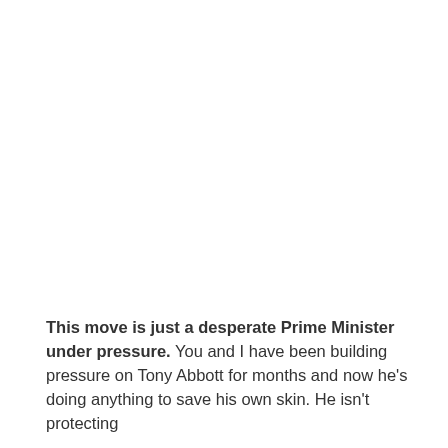This move is just a desperate Prime Minister under pressure. You and I have been building pressure on Tony Abbott for months and now he's doing anything to save his own skin. He isn't protecting